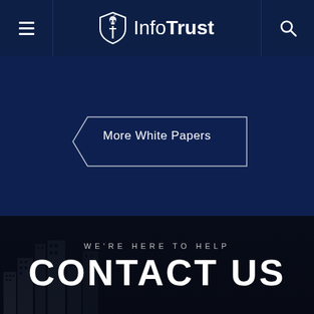InfoTrust navigation header with hamburger menu, InfoTrust logo, and search icon
[Figure (logo): InfoTrust logo with skull-and-shield emblem and text 'InfoTrust']
More White Papers
WE'RE HERE TO HELP
CONTACT US